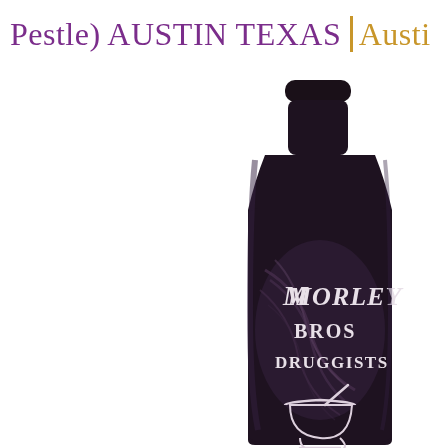Pestle) AUSTIN TEXAS | Austi
[Figure (photo): Dark antique apothecary bottle with a label reading 'Morley Bros Druggists' with an illustration of a mortar and pestle. The bottle has a rounded rectangular shape with a short neck and dark stopper.]